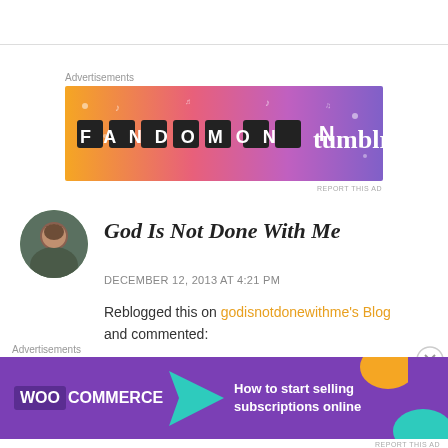[Figure (illustration): Tumblr Fandom advertisement banner with orange-to-purple gradient and text 'FANDOM ON tumblr']
God Is Not Done With Me
DECEMBER 12, 2013 AT 4:21 PM
Reblogged this on godisnotdonewithme's Blog and commented:
This is so amazing! Whether WW is your thing
[Figure (illustration): WooCommerce advertisement banner with purple background, WooCommerce logo, teal arrow, and text 'How to start selling subscriptions online']